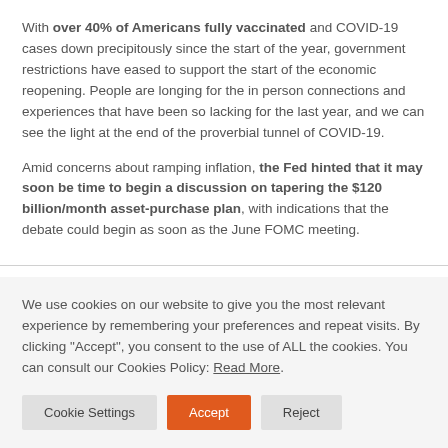With over 40% of Americans fully vaccinated and COVID-19 cases down precipitously since the start of the year, government restrictions have eased to support the start of the economic reopening. People are longing for the in person connections and experiences that have been so lacking for the last year, and we can see the light at the end of the proverbial tunnel of COVID-19.
Amid concerns about ramping inflation, the Fed hinted that it may soon be time to begin a discussion on tapering the $120 billion/month asset-purchase plan, with indications that the debate could begin as soon as the June FOMC meeting.
We use cookies on our website to give you the most relevant experience by remembering your preferences and repeat visits. By clicking "Accept", you consent to the use of ALL the cookies. You can consult our Cookies Policy: Read More.